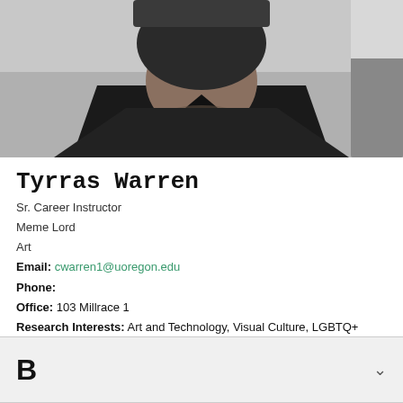[Figure (photo): Headshot photo of Tyrras Warren, close-up portrait showing face and shoulders in dark clothing]
Tyrras Warren
Sr. Career Instructor
Meme Lord
Art
Email: cwarren1@uoregon.edu
Phone:
Office: 103 Millrace 1
Research Interests: Art and Technology, Visual Culture, LGBTQ+
B